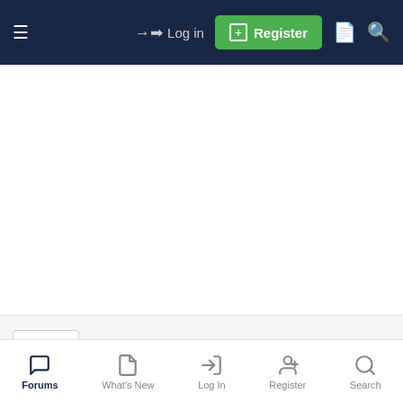≡  →) Log in  ⊞ Register  🗋  🔍
[Figure (other): White advertisement / banner space]
The ClayTaurus
Senior Member
Sep 8, 2006  #6
Inseis said:
Forums  What's New  Log In  Register  Search